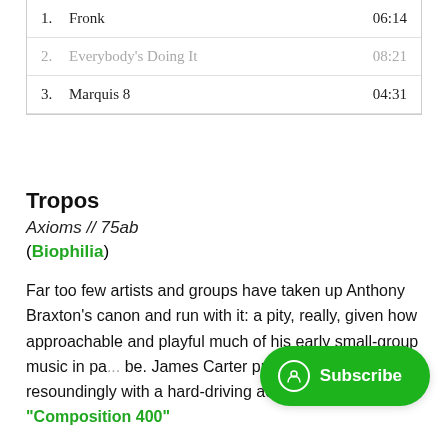| # | Title | Duration |
| --- | --- | --- |
| 1. | Fronk | 06:14 |
| 2. | Everybody's Doing It | 08:21 |
| 3. | Marquis 8 | 04:31 |
Tropos
Axioms // 75ab
(Biophilia)
Far too few artists and groups have taken up Anthony Braxton's canon and run with it: a pity, really, given how approachable and playful much of his early small-group music in pa... be. James Carter proved the point resoundingly with a hard-driving account of "Composition 400"